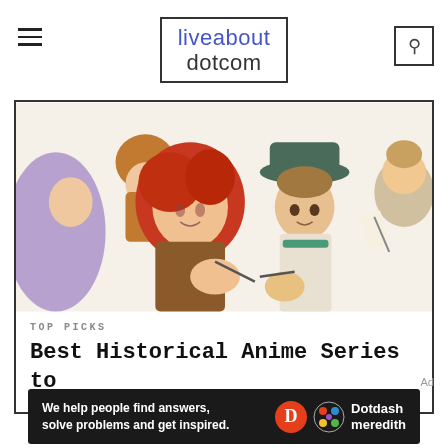liveabout dotcom
[Figure (illustration): Anime characters illustration showing multiple characters in historical-style clothing; a red-haired male character in foreground, a character wearing a teal fedora hat, and others in background]
TOP PICKS
Best Historical Anime Series to Broaden Your Mind
Ad
[Figure (logo): Dotdash Meredith advertisement banner: 'We help people find answers, solve problems and get inspired.' with Dotdash Meredith logo]